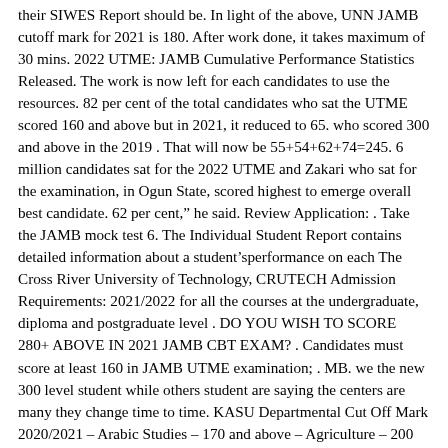their SIWES Report should be. In light of the above, UNN JAMB cutoff mark for 2021 is 180. After work done, it takes maximum of 30 mins. 2022 UTME: JAMB Cumulative Performance Statistics Released. The work is now left for each candidates to use the resources. 82 per cent of the total candidates who sat the UTME scored 160 and above but in 2021, it reduced to 65. who scored 300 and above in the 2019 . That will now be 55+54+62+74=245. 6 million candidates sat for the 2022 UTME and Zakari who sat for the examination, in Ogun State, scored highest to emerge overall best candidate. 62 per cent,” he said. Review Application: . Take the JAMB mock test 6. The Individual Student Report contains detailed information about a student’sperformance on each The Cross River University of Technology, CRUTECH Admission Requirements: 2021/2022 for all the courses at the undergraduate, diploma and postgraduate level . DO YOU WISH TO SCORE 280+ ABOVE IN 2021 JAMB CBT EXAM? . Candidates must score at least 160 in JAMB UTME examination; . MB. we the new 300 level student while others student are saying the centers are many they change time to time. KASU Departmental Cut Off Mark 2020/2021 – Arabic Studies – 170 and above – Agriculture – 200 and above . This implies that since you will score above 90 in JAMB, then you will definitely score above 90% in your post utme, hence, you will get admission. 6. Are you are determined to score up to 290 and above and pass the Post JAM University of choice exams with ease, you simply have to order this book with